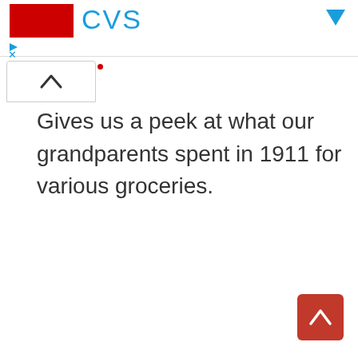CVS
Gives us a peek at what our grandparents spent in 1911 for various groceries.